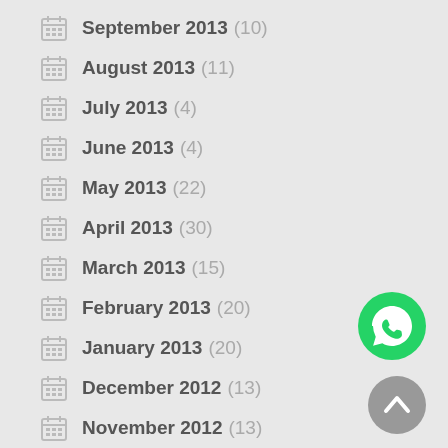September 2013 (10)
August 2013 (11)
July 2013 (4)
June 2013 (4)
May 2013 (22)
April 2013 (30)
March 2013 (15)
February 2013 (20)
January 2013 (20)
December 2012 (13)
November 2012 (13)
October 2012 (33)
September 2012 (16)
[Figure (logo): WhatsApp logo button (green circle with phone handset icon)]
[Figure (other): Scroll-to-top button (grey circle with upward chevron)]